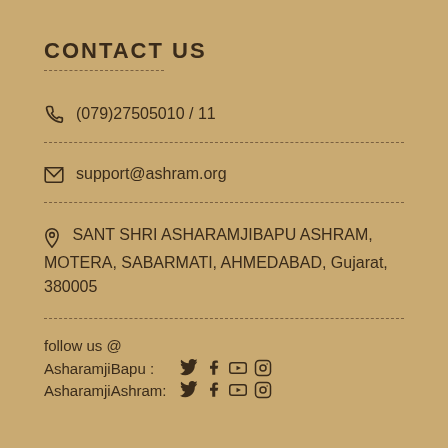CONTACT US
(079)27505010 / 11
support@ashram.org
SANT SHRI ASHARAMJIBAPU ASHRAM, MOTERA, SABARMATI, AHMEDABAD, Gujarat, 380005
follow us @
AsharamjiBapu :  [twitter] [facebook] [youtube] [instagram]
AsharamjiAshram: [twitter] [facebook] [youtube] [instagram]